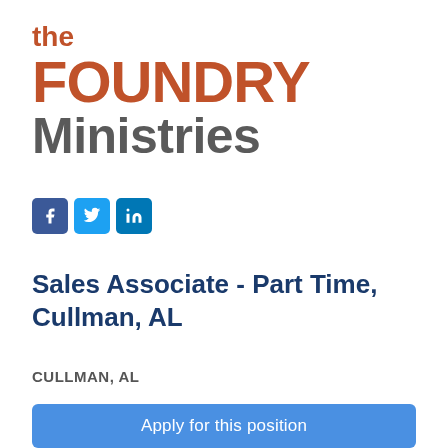[Figure (logo): The Foundry Ministries logo with 'the' in orange, 'FOUNDRY' in large orange bold text, and 'Ministries' in large gray bold text]
[Figure (infographic): Social media icons for Facebook (blue square with f), Twitter (blue square with bird), and LinkedIn (blue square with in)]
Sales Associate - Part Time, Cullman, AL
CULLMAN, AL
Apply for this position